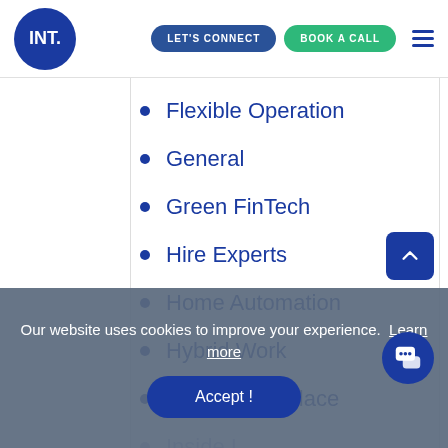INT. | LET'S CONNECT | BOOK A CALL
Flexible Operation
General
Green FinTech
Hire Experts
Home Automation
Hybrid Work
Hybrid Workplace
Inside...
Insurte...
Our website uses cookies to improve your experience. Learn more
Accept !